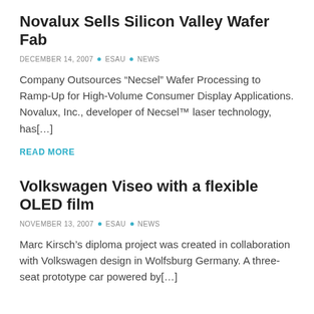Novalux Sells Silicon Valley Wafer Fab
DECEMBER 14, 2007  •  ESAU  •  NEWS
Company Outsources “Necsel” Wafer Processing to Ramp-Up for High-Volume Consumer Display Applications. Novalux, Inc., developer of Necsel™ laser technology, has[…]
READ MORE
Volkswagen Viseo with a flexible OLED film
NOVEMBER 13, 2007  •  ESAU  •  NEWS
Marc Kirsch’s diploma project was created in collaboration with Volkswagen design in Wolfsburg Germany. A three-seat prototype car powered by[…]